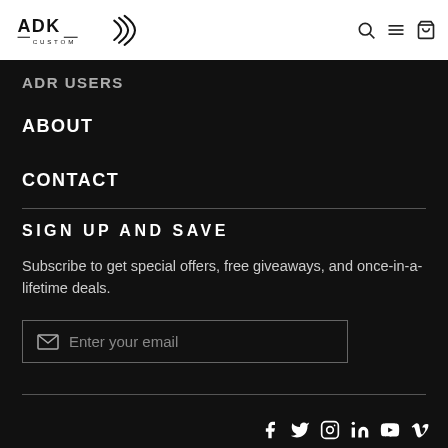ADK Custom — navigation header with search, menu, and cart icons
ADR USERS
ABOUT
CONTACT
SIGN UP AND SAVE
Subscribe to get special offers, free giveaways, and once-in-a-lifetime deals.
Enter your email
Social icons: Facebook, Twitter, Instagram, LinkedIn, YouTube, Vimeo